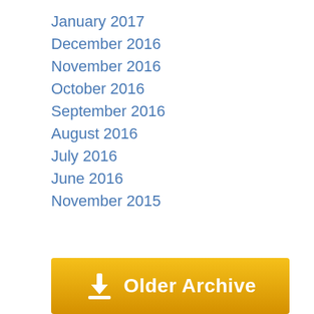January 2017
December 2016
November 2016
October 2016
September 2016
August 2016
July 2016
June 2016
November 2015
[Figure (other): Golden banner button with download icon and text 'Older Archive']